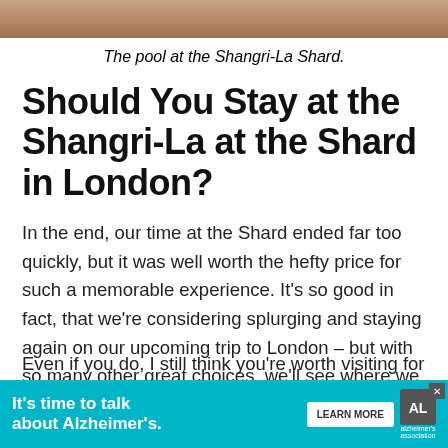[Figure (photo): Top portion of a photo showing the pool at the Shangri-La Shard, cropped at top of page]
The pool at the Shangri-La Shard.
Should You Stay at the Shangri-La at the Shard in London?
In the end, our time at the Shard ended far too quickly, but it was well worth the hefty price for such a memorable experience. It's so good in fact, that we're considering splurging and staying again on our upcoming trip to London – but with so many other great choices, we'll see where we end up.
[Figure (other): Advertisement banner: 'It's time to talk about Alzheimer's.' with LEARN MORE button and Alzheimer's Association logo]